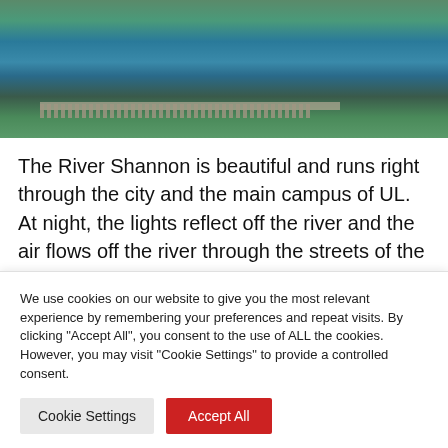[Figure (photo): Aerial photograph of the River Shannon running through a city, with a long bridge crossing the river. Green grass and trees on the left bank, urban buildings on the right bank.]
The River Shannon is beautiful and runs right through the city and the main campus of UL. At night, the lights reflect off the river and the air flows off the river through the streets of the city, walking along the Sarsfield Bridge in the city to stare out over the waters of the Shannon is a walk that I thoroughly enjoy in my time in the city. Watching kayakers have fun on the Shannon while you
We use cookies on our website to give you the most relevant experience by remembering your preferences and repeat visits. By clicking "Accept All", you consent to the use of ALL the cookies. However, you may visit "Cookie Settings" to provide a controlled consent.